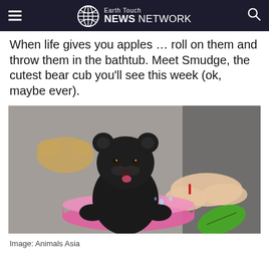Earth Touch NEWS NETWORK
When life gives you apples … roll on them and throw them in the bathtub. Meet Smudge, the cutest bear cub you'll see this week (ok, maybe ever).
[Figure (photo): A small black bear cub sitting in a pink plastic basin/bowl, with a person's hands nearby, a stuffed animal toy in the background, and a green leaf to the right. The setting appears to be an indoor floor.]
Image: Animals Asia